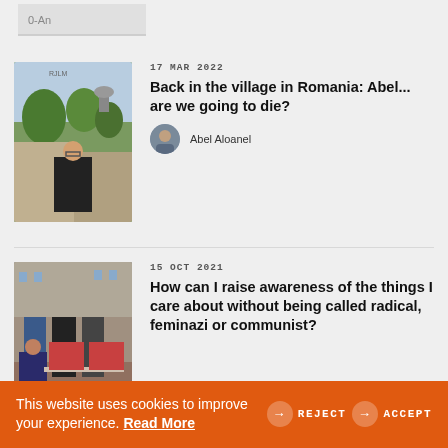[Figure (photo): Partially cropped image from upper article card, showing small logo/handwriting and white background]
[Figure (photo): Photo of a young man standing with arms crossed in a village setting in Romania, outdoor scene with trees and buildings]
17 MAR 2022
Back in the village in Romania: Abel... are we going to die?
[Figure (photo): Small circular avatar of Abel Aloanel]
Abel Aloanel
[Figure (photo): Photo of a protest scene with people holding signs and sitting on the ground with graphic imagery]
15 OCT 2021
How can I raise awareness of the things I care about without being called radical, feminazi or communist?
This website uses cookies to improve your experience. Read More → REJECT → ACCEPT